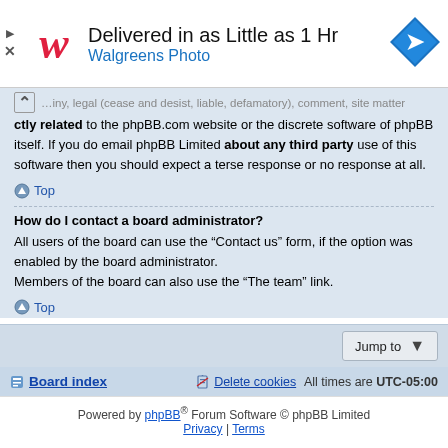[Figure (other): Walgreens Photo advertisement banner: 'Delivered in as Little as 1 Hr' with Walgreens W logo and navigation arrow icon]
...ctly related to the phpBB.com website or the discrete software of phpBB itself. If you do email phpBB Limited about any third party use of this software then you should expect a terse response or no response at all.
Top
How do I contact a board administrator?
All users of the board can use the “Contact us” form, if the option was enabled by the board administrator.
Members of the board can also use the “The team” link.
Top
Jump to
Board index | Delete cookies | All times are UTC-05:00
Powered by phpBB® Forum Software © phpBB Limited | Privacy | Terms